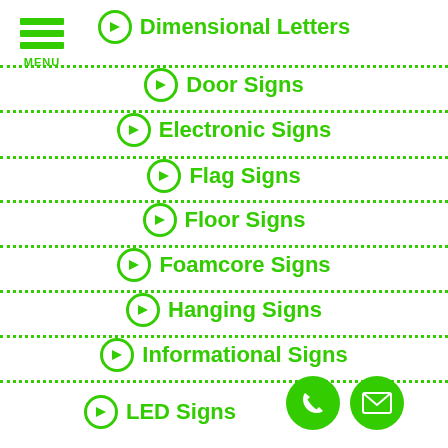[Figure (logo): Green hamburger menu icon with three horizontal bars and MENU text below]
Dimensional Letters
Door Signs
Electronic Signs
Flag Signs
Floor Signs
Foamcore Signs
Hanging Signs
Informational Signs
LED Signs
[Figure (illustration): Green phone call button circle icon]
[Figure (illustration): Green email/envelope button circle icon]